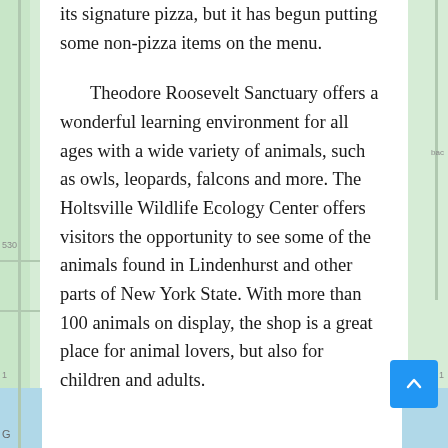its signature pizza, but it has begun putting some non-pizza items on the menu.
Theodore Roosevelt Sanctuary offers a wonderful learning environment for all ages with a wide variety of animals, such as owls, leopards, falcons and more. The Holtsville Wildlife Ecology Center offers visitors the opportunity to see some of the animals found in Lindenhurst and other parts of New York State. With more than 100 animals on display, the shop is a great place for animal lovers, but also for children and adults.